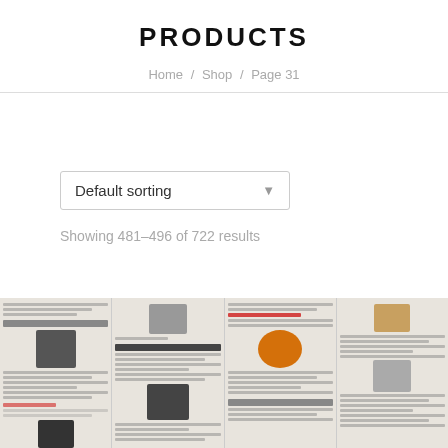PRODUCTS
Home / Shop / Page 31
Default sorting
Showing 481–496 of 722 results
[Figure (photo): A photograph of an open magazine spread showing multiple music album reviews with small album cover images and text columns, including sections for Led Zeppelin, The Clash, Primal Scream, Pink Floyd, and other artists.]